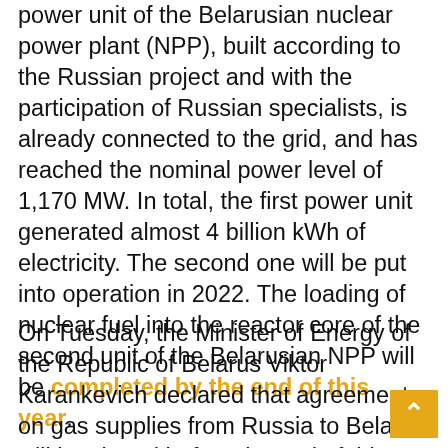power unit of the Belarusian nuclear power plant (NPP), built according to the Russian project and with the participation of Russian specialists, is already connected to the grid, and has reached the nominal power level of 1,170 MW. In total, the first power unit generated almost 4 billion kWh of electricity. The second one will be put into operation in 2022. The loading of nuclear fuel into the reactor core of the second unit of the Belarusian NPP will be completed by the end of this year.
On Tuesday, the Minister of Energy of the Republic of Belarus Viktor Karankevich declared that agreements on gas supplies from Russia to Belarus will be signed before the end of this